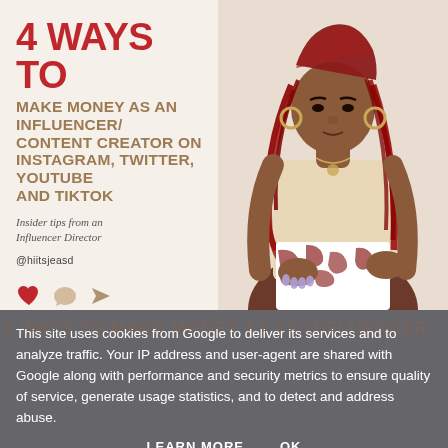4 WAYS TO
MAKE MONEY AS AN INFLUENCER/ CONTENT CREATOR ON INSTAGRAM, TWITTER, YOUTUBE AND TIKTOK
Insider tips from an Influencer Director
@hiitsjeasd
[Figure (photo): Young woman with long red braids wearing a beige sleeveless top and patterned skirt, posing against a light background]
This site uses cookies from Google to deliver its services and to analyze traffic. Your IP address and user-agent are shared with Google along with performance and security metrics to ensure quality of service, generate usage statistics, and to detect and address abuse.
LEARN MORE    OK